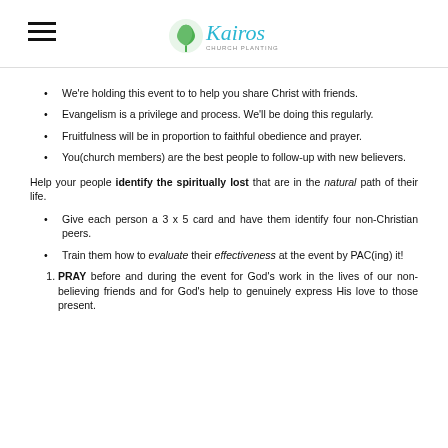Kairos Church Planting (logo)
We're holding this event to to help you share Christ with friends.
Evangelism is a privilege and process. We'll be doing this regularly.
Fruitfulness will be in proportion to faithful obedience and prayer.
You(church members) are the best people to follow-up with new believers.
Help your people identify the spiritually lost that are in the natural path of their life.
Give each person a 3 x 5 card and have them identify four non-Christian peers.
Train them how to evaluate their effectiveness at the event by PAC(ing) it!
PRAY before and during the event for God's work in the lives of our non-believing friends and for God's help to genuinely express His love to those present.